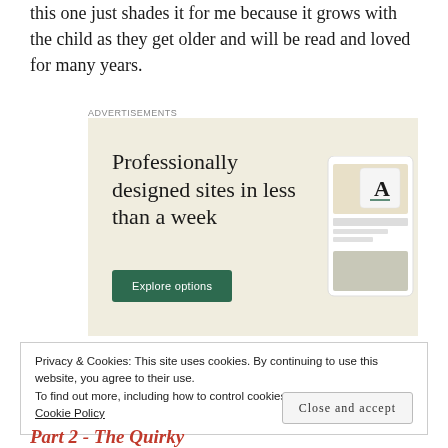this one just shades it for me because it grows with the child as they get older and will be read and loved for many years.
[Figure (other): Advertisement banner for a web design service. Beige background with headline 'Professionally designed sites in less than a week', a green 'Explore options' button, and mockup screenshots of websites on the right side.]
Privacy & Cookies: This site uses cookies. By continuing to use this website, you agree to their use.
To find out more, including how to control cookies, see here:
Cookie Policy
Close and accept
Part 2 - The Quirky